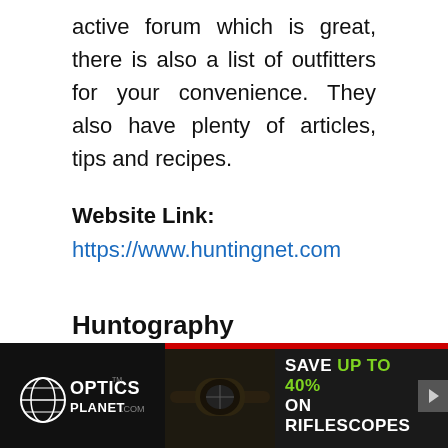active forum which is great, there is also a list of outfitters for your convenience. They also have plenty of articles, tips and recipes.
Website Link:
https://www.huntingnet.com
Huntography
[Figure (photo): OpticsPlanet.com advertisement banner: dark background with rifle scope image, text 'SAVE UP TO 40% ON RIFLESCOPES' with green accent text, play/arrow button on right]